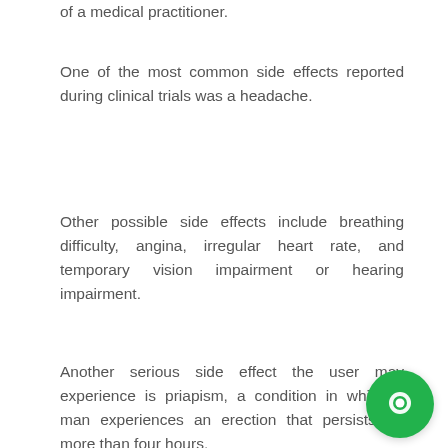of a medical practitioner.
One of the most common side effects reported during clinical trials was a headache.
Other possible side effects include breathing difficulty, angina, irregular heart rate, and temporary vision impairment or hearing impairment.
Another serious side effect the user may experience is priapism, a condition in which a man experiences an erection that persists for more than four hours.